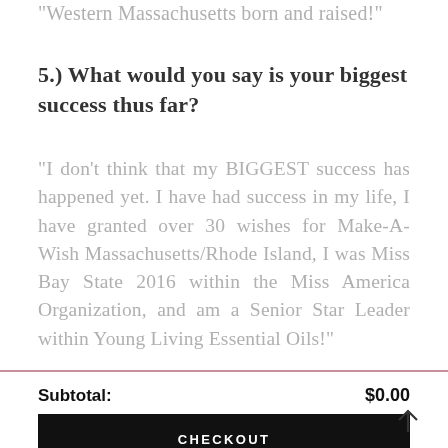"Western Massachusetts born and raised!"
5.) What would you say is your biggest success thus far?
"I don't think that my BIGGEST success has happened yet. I have had success in my life, I have granted over 30 wishes for Make-A-Wish Massachusetts/Rhode Island, I was Miss Bay State 2016 within the Miss America Organization, and am a Senior Star Leader within Young Living Essential Oils!"
Subtotal: $0.00
CHECKOUT